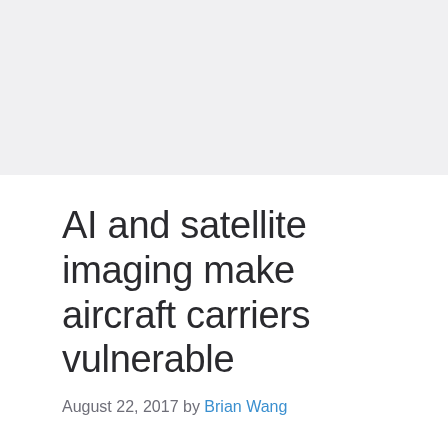[Figure (photo): Light gray image placeholder area at the top of the page]
AI and satellite imaging make aircraft carriers vulnerable
August 22, 2017 by Brian Wang